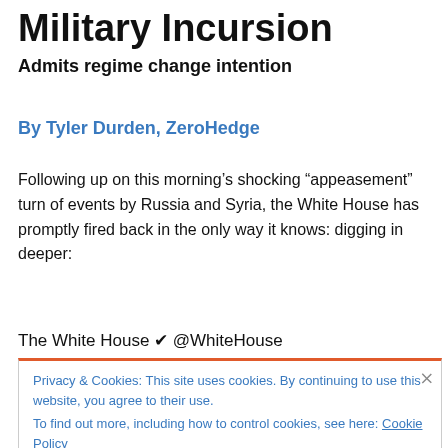Military Incursion
Admits regime change intention
By Tyler Durden, ZeroHedge
Following up on this morning's shocking “appeasement” turn of events by Russia and Syria, the White House has promptly fired back in the only way it knows: digging in deeper:
The White House ✔ @WhiteHouse
Privacy & Cookies: This site uses cookies. By continuing to use this website, you agree to their use.
To find out more, including how to control cookies, see here: Cookie Policy